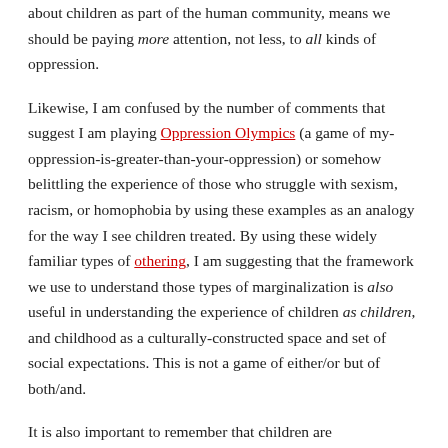about children as part of the human community, means we should be paying more attention, not less, to all kinds of oppression.
Likewise, I am confused by the number of comments that suggest I am playing Oppression Olympics (a game of my-oppression-is-greater-than-your-oppression) or somehow belittling the experience of those who struggle with sexism, racism, or homophobia by using these examples as an analogy for the way I see children treated. By using these widely familiar types of othering, I am suggesting that the framework we use to understand those types of marginalization is also useful in understanding the experience of children as children, and childhood as a culturally-constructed space and set of social expectations. This is not a game of either/or but of both/and.
It is also important to remember that children are